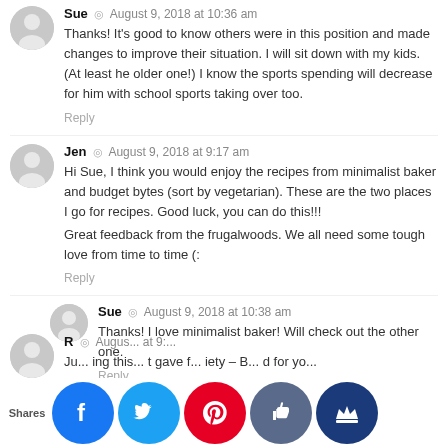Sue · August 9, 2018 at 10:36 am
Thanks! It's good to know others were in this position and made changes to improve their situation. I will sit down with my kids. (At least he older one!) I know the sports spending will decrease for him with school sports taking over too.
Reply
Jen · August 9, 2018 at 9:17 am
Hi Sue, I think you would enjoy the recipes from minimalist baker and budget bytes (sort by vegetarian). These are the two places I go for recipes. Good luck, you can do this!!!
Great feedback from the frugalwoods. We all need some tough love from time to time (:
Reply
Sue · August 9, 2018 at 10:38 am
Thanks! I love minimalist baker! Will check out the other one.
Reply
R · August 9, 2018 at 9:... Just ... ing this ... t gave ... iety – B... d for yo...